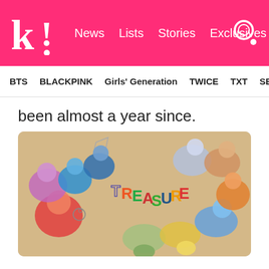K! News Lists Stories Exclusives
BTS BLACKPINK Girls' Generation TWICE TXT SEVE
been almost a year since.
[Figure (photo): Group photo of K-Pop group TREASURE members lying on the floor with colorful letters spelling TREASURE, taken from above, members wearing colorful outfits]
K-Pop fans on Reddit recently started a discussion on this topic, venting their